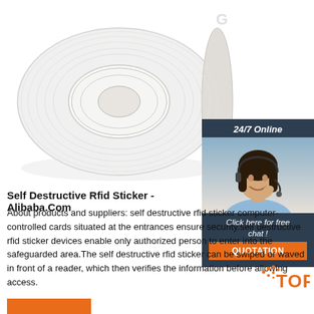[Figure (photo): A roll of white RFID self-destructive sticker tape on a white background]
[Figure (photo): 24/7 Online customer service chat box with a smiling female agent wearing a headset, an orange QUOTATION button, and a 'Click here for free chat!' message]
Self Destructive Rfid Sticker - Alibaba.Com
About products and suppliers: self destructive rfid sticker computer-controlled cards situated at the entrances ensure security.self destructive rfid sticker devices enable only authorized person to enter into the safeguarded area.The self destructive rfid sticker can be swiped or waved in front of a reader, which then verifies the information before allowing access.
[Figure (logo): TOP logo in orange with orange dot pattern]
[Figure (other): Orange button at bottom left (partially visible)]